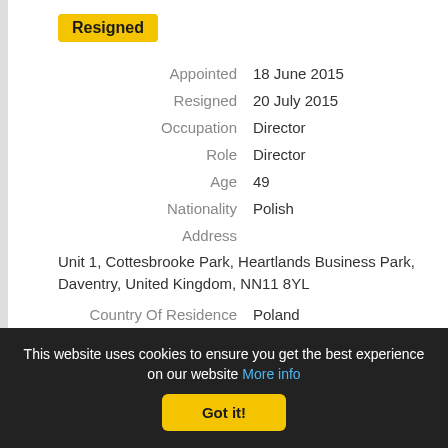Resigned
| Field | Value |
| --- | --- |
| Appointed | 18 June 2015 |
| Resigned | 20 July 2015 |
| Occupation | Director |
| Role | Director |
| Age | 49 |
| Nationality | Polish |
| Address | Unit 1, Cottesbrooke Park, Heartlands Business Park, Daventry, United Kingdom, NN11 8YL |
| Country Of Residence | Poland |
| Name | BOCHENEK, Tomasz Wojciech |
This website uses cookies to ensure you get the best experience on our website More info Got it!